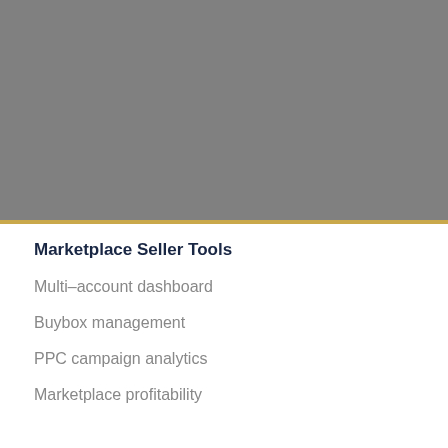[Figure (photo): Gray rectangular image block occupying the top portion of the page]
Marketplace Seller Tools
Multi-account dashboard
Buybox management
PPC campaign analytics
Marketplace profitability